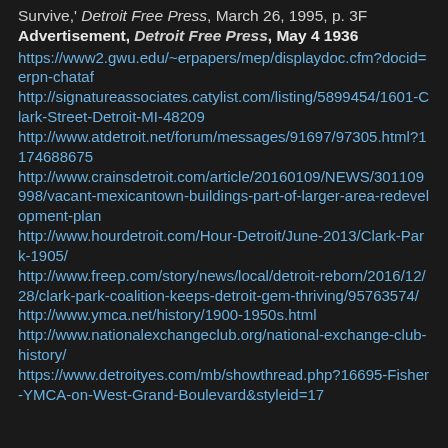Survive,' Detroit Free Press, March 26, 1995, p. 3F
Advertisement, Detroit Free Press, May 4 1936
https://www2.gwu.edu/~erpapers/mep/displaydoc.cfm?docid=erpn-chataf
http://signatureassociates.catylist.com/listing/5899454/1601-Clark-Street-Detroit-MI-48209
http://www.atdetroit.net/forum/messages/91697/97305.html?1174688675
http://www.crainsdetroit.com/article/20160109/NEWS/301109998/vacant-mexicantown-buildings-part-of-larger-area-redevelopment-plan
http://www.hourdetroit.com/Hour-Detroit/June-2013/Clark-Park-1905/
http://www.freep.com/story/news/local/detroit-reborn/2016/12/28/clark-park-coalition-keeps-detroit-gem-thriving/95763574/
http://www.ymca.net/history/1900-1950s.html
http://www.nationalexchangeclub.org/national-exchange-club-history/
https://www.detroityes.com/mb/showthread.php?16695-Fisher-YMCA-on-West-Grand-Boulevard&styleid=17